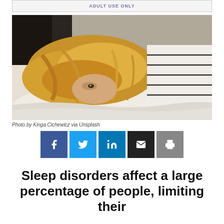[Figure (other): Advertisement banner at top of page with 'ADULT USE ONLY' text]
[Figure (photo): A person with long blonde hair lying face-down on a white bed, wearing a white and black striped long-sleeve shirt, with their face partially visible peeking up from the pillow.]
Photo by Kinga Cichewicz via Unsplash
[Figure (infographic): Social sharing buttons row: Facebook (blue), Twitter (light blue), LinkedIn (dark blue), Email (black), Print (dark grey)]
Sleep disorders affect a large percentage of people, limiting their